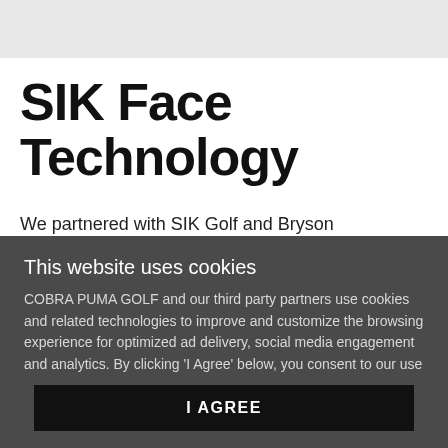SIK Face Technology
We partnered with SIK Golf and Bryson Dechambeau to
This website uses cookies
COBRA PUMA GOLF and our third party partners use cookies and related technologies to improve and customize the browsing experience for optimized ad delivery, social media engagement and analytics. By clicking 'I Agree' below, you consent to our use of cookies. You may disable cookies in your browser settings at any time. For more information, please see our Privacy Policy
I AGREE